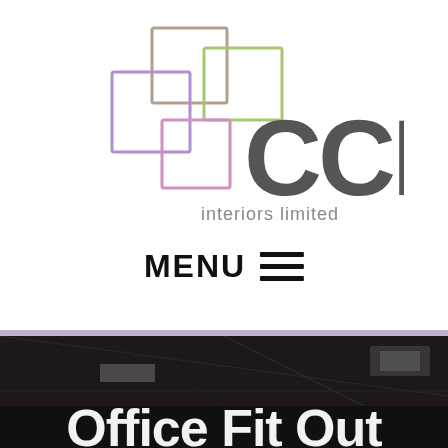[Figure (logo): CCM Interiors Limited logo with overlapping colored squares (taupe, purple/lilac, green, pink) and large grey CCM text with 'interiors limited' subtitle]
MENU ≡
[Figure (photo): Dark interior photo of an office space with ceiling and walls visible, with partial white text 'Office Fit Out' emerging at the bottom]